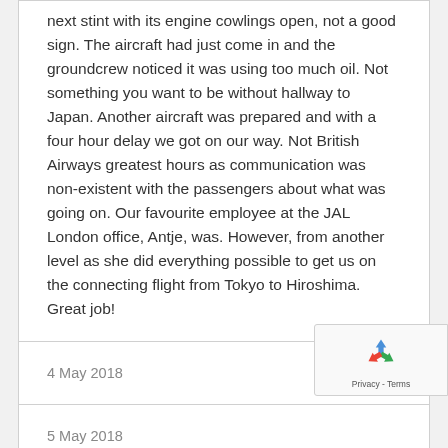next stint with its engine cowlings open, not a good sign. The aircraft had just come in and the groundcrew noticed it was using too much oil. Not something you want to be without hallway to Japan. Another aircraft was prepared and with a four hour delay we got on our way. Not British Airways greatest hours as communication was non-existent with the passengers about what was going on. Our favourite employee at the JAL London office, Antje, was. However, from another level as she did everything possible to get us on the connecting flight from Tokyo to Hiroshima. Great job!
4 May 2018
5 May 2018
6 May 2018